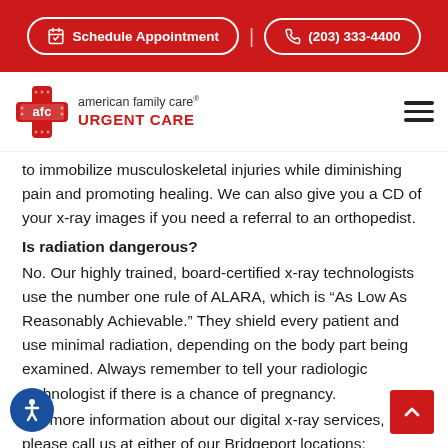Schedule Appointment | (203) 333-4400
[Figure (logo): AFC American Family Care Urgent Care logo with red cross and hamburger menu]
to immobilize musculoskeletal injuries while diminishing pain and promoting healing. We can also give you a CD of your x-ray images if you need a referral to an orthopedist.
Is radiation dangerous?
No. Our highly trained, board-certified x-ray technologists use the number one rule of ALARA, which is “As Low As Reasonably Achievable.” They shield every patient and use minimal radiation, depending on the body part being examined. Always remember to tell your radiologic technologist if there is a chance of pregnancy.
For more information about our digital x-ray services, please call us at either of our Bridgeport locations:
61 Boston Ave